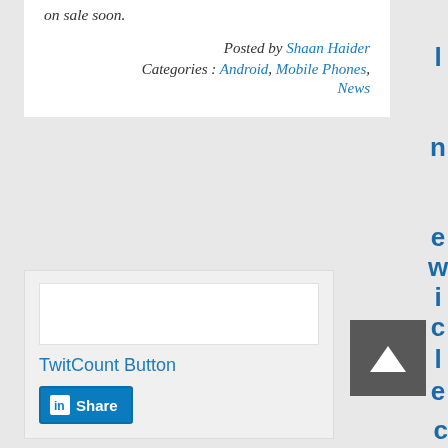on sale soon.
Posted by Shaan Haider
Categories : Android, Mobile Phones, News
TwitCount Button
Share (LinkedIn)